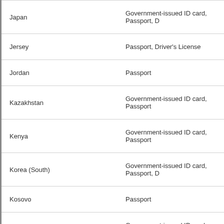| Country | Accepted ID Documents |
| --- | --- |
| Japan | Government-issued ID card, Passport, D |
| Jersey | Passport, Driver's License |
| Jordan | Passport |
| Kazakhstan | Government-issued ID card, Passport |
| Kenya | Government-issued ID card, Passport |
| Korea (South) | Government-issued ID card, Passport, D |
| Kosovo | Passport |
| Kuwait | Government-issued ID card, Passport, D |